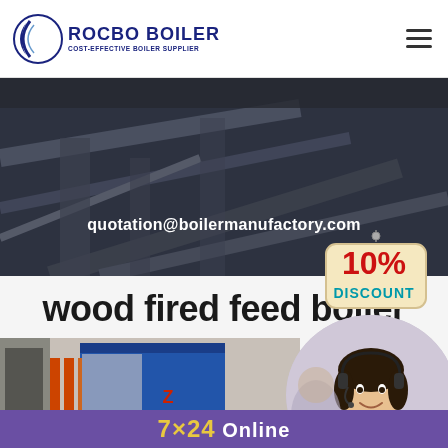[Figure (logo): Rocbo Boiler logo with crescent/globe icon and text 'ROCBO BOILER COST-EFFECTIVE BOILER SUPPLIER']
[Figure (photo): Dark industrial boiler facility background banner image]
quotation@boilermanufactory.com
[Figure (infographic): 10% DISCOUNT badge on beige tag background]
wood fired feed boiler
[Figure (photo): Industrial blue boiler unit photograph]
[Figure (photo): Customer service representative woman with headset in circular crop]
7×24 Online